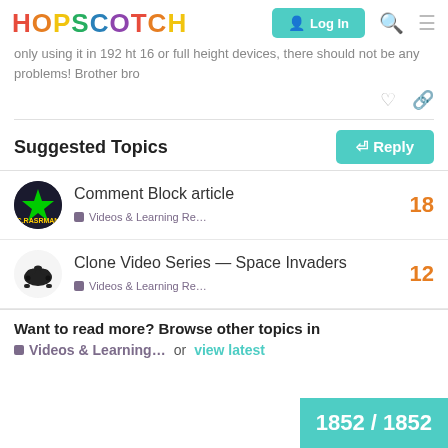HOPSCOTCH — Log In
only using it in 192 ht 16 or full height devices, there should not be any problems! Brother bro
Suggested Topics
Comment Block article
Videos & Learning Re…
18
Clone Video Series — Space Invaders
Videos & Learning Re…
12
Want to read more? Browse other topics in
Videos & Learning… or view latest
1852 / 1852